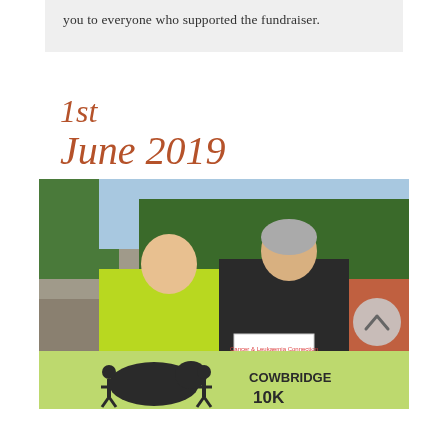you to everyone who supported the fundraiser.
1st June 2019
[Figure (photo): Two people standing outdoors on a running track road, one wearing a bright yellow-green jacket holding a flyer for 'Cowbridge On The Run 5K', with green trees and road in background. A Cowbridge 10K logo banner visible at the bottom.]